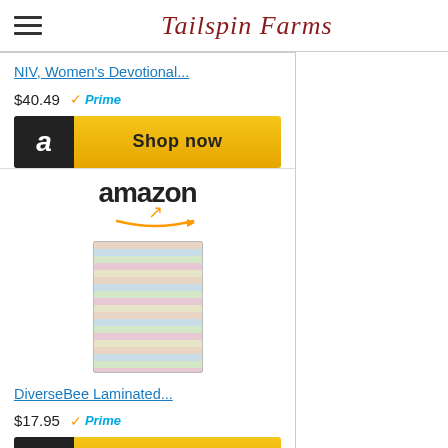Tailspin Farms
NIV, Women's Devotional...
$40.49 Prime
[Figure (screenshot): Amazon 'Shop now' button with black Amazon 'a' logo on left and golden background]
[Figure (screenshot): Amazon product listing showing amazon wordmark with orange arrow, product image of laminated Bible tabs]
DiverseBee Laminated...
$17.95 Prime
[Figure (screenshot): Amazon 'Shop now' button with black Amazon 'a' logo on left and golden background]
[Figure (screenshot): Amazon wordmark at bottom, partially visible]